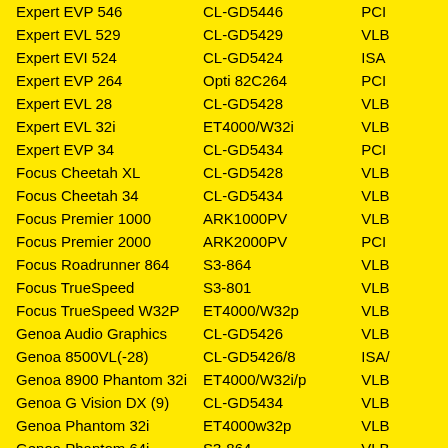| Product | Chip | Bus |
| --- | --- | --- |
| Expert EVP 546 | CL-GD5446 | PCI |
| Expert EVL 529 | CL-GD5429 | VLB |
| Expert EVI 524 | CL-GD5424 | ISA |
| Expert EVP 264 | Opti 82C264 | PCI |
| Expert EVL 28 | CL-GD5428 | VLB |
| Expert EVL 32i | ET4000/W32i | VLB |
| Expert EVP 34 | CL-GD5434 | PCI |
| Focus Cheetah XL | CL-GD5428 | VLB |
| Focus Cheetah 34 | CL-GD5434 | VLB |
| Focus Premier 1000 | ARK1000PV | VLB |
| Focus Premier 2000 | ARK2000PV | PCI |
| Focus Roadrunner 864 | S3-864 | VLB |
| Focus TrueSpeed | S3-801 | VLB |
| Focus TrueSpeed W32P | ET4000/W32p | VLB |
| Genoa Audio Graphics | CL-GD5426 | VLB |
| Genoa 8500VL(-28) | CL-GD5426/8 | ISA/ |
| Genoa 8900 Phantom 32i | ET4000/W32i/p | VLB |
| Genoa G Vision DX (9) | CL-GD5434 | VLB |
| Genoa Phantom 32i | ET4000w32p | VLB |
| Genoa Phantom 64i | S3-864 | VLB |